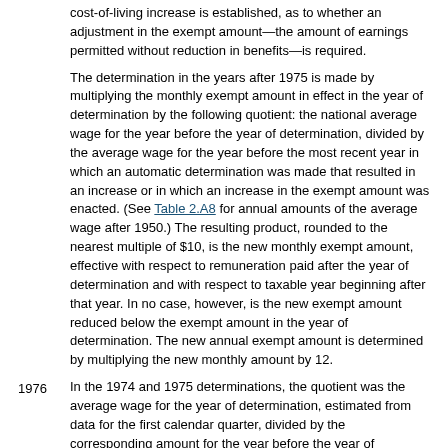cost-of-living increase is established, as to whether an adjustment in the exempt amount—the amount of earnings permitted without reduction in benefits—is required.
The determination in the years after 1975 is made by multiplying the monthly exempt amount in effect in the year of determination by the following quotient: the national average wage for the year before the year of determination, divided by the average wage for the year before the most recent year in which an automatic determination was made that resulted in an increase or in which an increase in the exempt amount was enacted. (See Table 2.A8 for annual amounts of the average wage after 1950.) The resulting product, rounded to the nearest multiple of $10, is the new monthly exempt amount, effective with respect to remuneration paid after the year of determination and with respect to taxable year beginning after that year. In no case, however, is the new exempt amount reduced below the exempt amount in the year of determination. The new annual exempt amount is determined by multiplying the new monthly amount by 12.
1976: In the 1974 and 1975 determinations, the quotient was the average wage for the year of determination, estimated from data for the first calendar quarter, divided by the corresponding amount for the year before the year of determination. P.L. 94-202 (signed January 2, 1976) revised the adjustment method by increasing by a year the lag in average wages used in the computation. Thus, for example, the 1976 determination was based on the percentage increase in the average wage from 1974 to 1975.
1994: The determination for years after 1994 is made by multiplying the